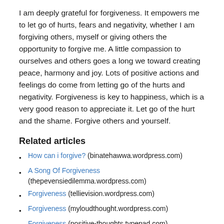I am deeply grateful for forgiveness. It empowers me to let go of hurts, fears and negativity, whether I am forgiving others, myself or giving others the opportunity to forgive me. A little compassion to ourselves and others goes a long we toward creating peace, harmony and joy. Lots of positive actions and feelings do come from letting go of the hurts and negativity. Forgiveness is key to happiness, which is a very good reason to appreciate it. Let go of the hurt and the shame. Forgive others and yourself.
Related articles
How can i forgive? (binatehawwa.wordpress.com)
A Song Of Forgiveness (thepevensiedilemma.wordpress.com)
Forgiveness (tellievision.wordpress.com)
Forgiveness (myloudthought.wordpress.com)
Forgiveness (positive-thoughts.typepad.com)